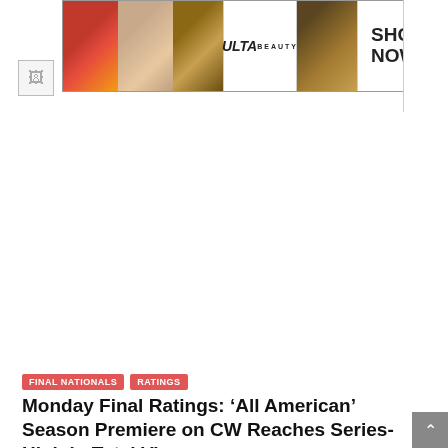[Figure (photo): ULTA beauty advertisement banner with makeup imagery - lips, brush, eye, ULTA logo, and SHOP NOW text]
[Figure (photo): Blank white advertisement space]
FINAL NATIONALS
RATINGS
Monday Final Ratings: ‘All American’ Season Premiere on CW Reaches Series-High in Total Viewers
by Douglas Pucci   October 9, 2019   Comments are off
[Figure (photo): Victoria's Secret advertisement with SHOP THE COLLECTION and SHOP NOW text on pink background]